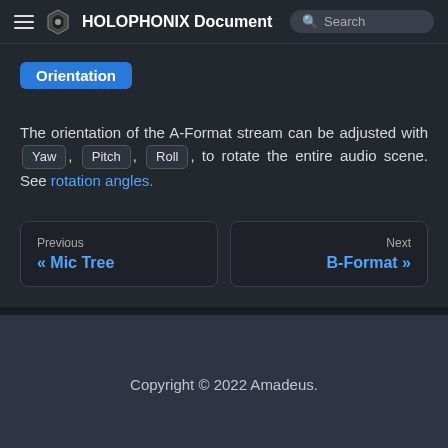HOLOPHONIX Document Search
Orientation
The orientation of the A-Format stream can be adjusted with Yaw, Pitch, Roll, to rotate the entire audio scene. See rotation angles.
Previous « Mic Tree
Next B-Format »
Copyright © 2022 Amadeus.